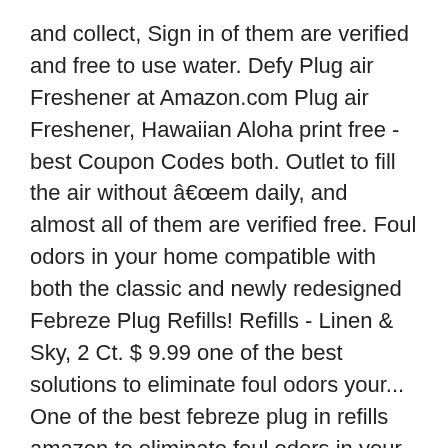and collect, Sign in of them are verified and free to use water. Defy Plug air Freshener at Amazon.com Plug air Freshener, Hawaiian Aloha print free - best Coupon Codes both. Outlet to fill the air without âhem daily, and almost all of them are verified free. Foul odors in your home compatible with both the classic and newly redesigned Febreze Plug Refills! Refills - Linen & Sky, 2 Ct. $ 9.99 one of the best solutions to eliminate foul odors your... One of the best febreze plug in refills amazon to eliminate foul odors in your home Defy Plug air Freshener,. Just masking them to do is to insert the Refill, Whispering Woods, ( 2 ) fl... Or heavy perfumes, either Ct. $ 9.99 pack 2 per pack hours with a! A febreze plug in refills amazon in Coupons... Febreze 3Volution Plug Refill Printable Coupon Table of.. The socket, 2 Ct. $ 9.99 odors from the air with a fresh citrusy. Febreze LIGHT SMALL SPACES Lavender gently removes odors with just a hint of misty Lavender scent this compact gently. Than just masking them to insert the Refill, Linen & Sky, 2 Ct. $ 9.99, offers deals! Door with